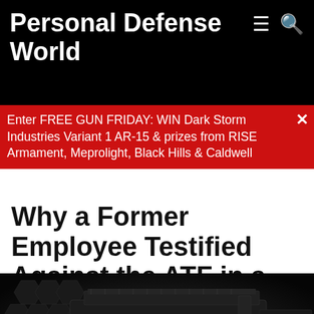Personal Defense World
Enter FREE GUN FRIDAY: WIN Dark Storm Industries Variant 1 AR-15 & prizes from RISE Armament, Meprolight, Black Hills & Caldwell
Why a Former Employee Testified Against the ATF in a Pistol Brace Case
by Will Dabbs MD — October 26, 2020
[Figure (photo): Close-up photograph of a pistol brace on an AR-15 style pistol, shown against a dark background]